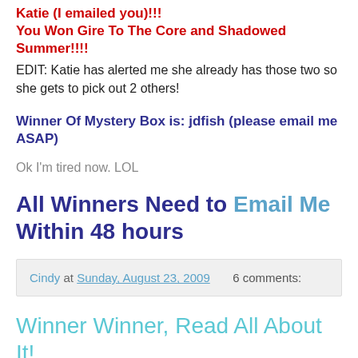Katie (I emailed you)!!!
You Won Gire To The Core and Shadowed Summer!!!!
EDIT: Katie has alerted me she already has those two so she gets to pick out 2 others!
Winner Of Mystery Box is: jdfish (please email me ASAP)
Ok I'm tired now. LOL
All Winners Need to Email Me Within 48 hours
Cindy at Sunday, August 23, 2009   6 comments:
Winner Winner, Read All About It!
Its totally amazing how many entries I got for my contests!! Thank You Everyone for entering! I'd say this was the easiest one to